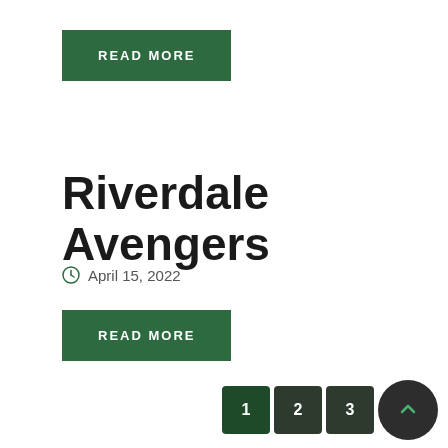READ MORE
Riverdale Avengers
April 15, 2022
READ MORE
1 2 3